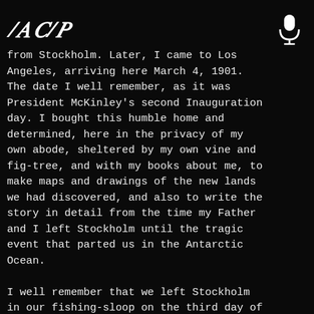ACAP
from Stockholm. Later, I came to Los Angeles, arriving here March 4, 1901. The date I well remember, as it was President McKinley's second Inauguration day. I bought this humble home and determined, here in the privacy of my own abode, sheltered by my own vine and fig-tree, and with my books about me, to make maps and drawings of the new lands we had discovered, and also to write the story in detail from the time my Father and I left Stockholm until the tragic event that parted us in the Antarctic Ocean.
I well remember that we left Stockholm in our fishing-sloop on the third day of April, 1829, and sailed to the